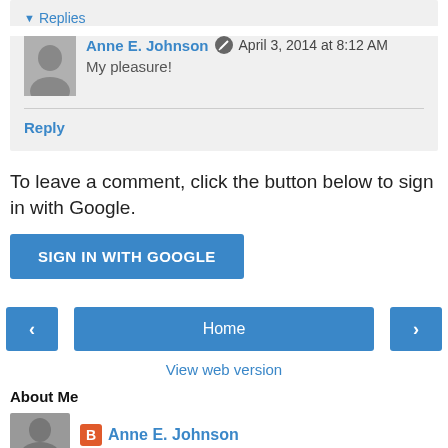Replies
Anne E. Johnson · April 3, 2014 at 8:12 AM
My pleasure!
Reply
To leave a comment, click the button below to sign in with Google.
SIGN IN WITH GOOGLE
< Home >
View web version
About Me
Anne E. Johnson